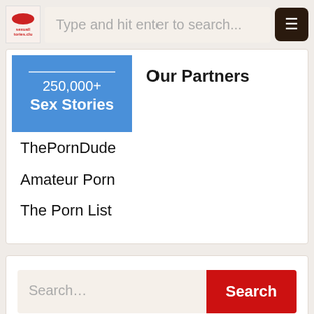Type and hit enter to search...
250,000+ Sex Stories
Our Partners
ThePornDude
Amateur Porn
The Porn List
Search...